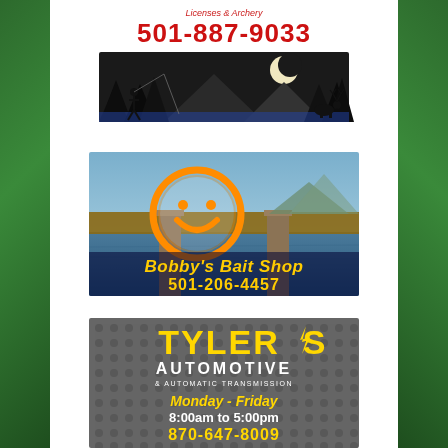[Figure (advertisement): Outdoor/fishing themed business ad with silhouette of trees and wildlife, red text showing phone number 501-887-9033]
[Figure (advertisement): Bobby's Bait Shop ad with lake/bridge photo background, orange smiley face logo, yellow text: Bobby's Bait Shop 501-206-4457]
[Figure (advertisement): Tyler's Automotive & Automatic Transmission ad on dark dotted background, yellow TYLER'S text, white AUTOMOTIVE & AUTOMATIC TRANSMISSION text, yellow Monday-Friday hours, yellow 870-647-8009 phone number, hours 8:00am to 5:00pm]